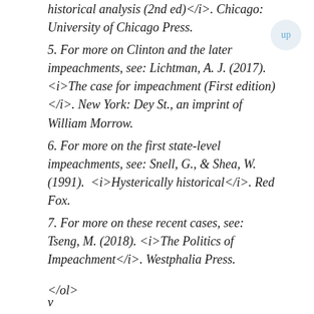historical analysis (2nd ed)</i>. Chicago: University of Chicago Press.
5. For more on Clinton and the later impeachments, see: Lichtman, A. J. (2017). <i>The case for impeachment (First edition)</i>. New York: Dey St., an imprint of William Morrow.
6. For more on the first state-level impeachments, see: Snell, G., & Shea, W. (1991). <i>Hysterically historical</i>. Red Fox.
7. For more on these recent cases, see: Tseng, M. (2018). <i>The Politics of Impeachment</i>. Westphalia Press.
</ol>
v